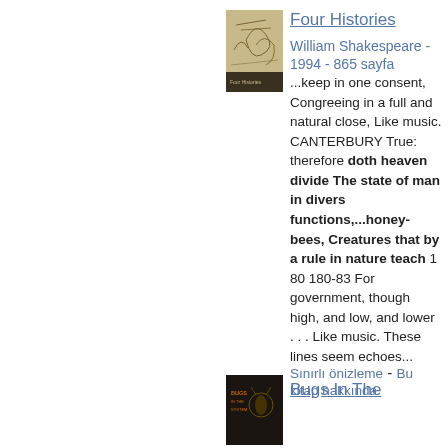[Figure (illustration): Book cover of Four Histories with sketched figures on a tan/cream background]
Four Histories
William Shakespeare - 1994 - 865 sayfa
...keep in one consent, Congreeing in a full and natural close, Like music. CANTERBURY True: therefore doth heaven divide The state of man in divers functions,...honey-bees, Creatures that by a rule in nature teach 1 80 180-83 For government, though high, and low, and lower . . . Like music. These lines seem echoes...
Sınırlı önizleme - Bu kitap hakkında
[Figure (illustration): Book cover of Bugs In The System with dark background]